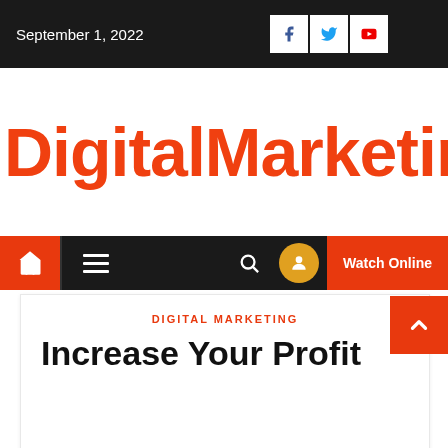September 1, 2022
DigitalMarketingMa
[Figure (screenshot): Navigation bar with home icon, hamburger menu, search icon, orange circle icon, and Watch Online button on dark background]
DIGITAL MARKETING
Increase Your Profit